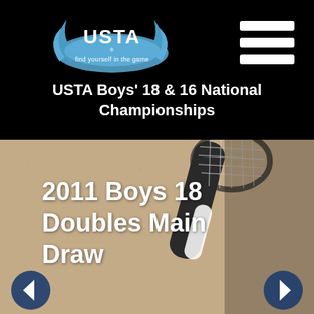[Figure (logo): USTA logo with blue flame swoosh design and tagline 'find yourself in the game']
[Figure (illustration): Hamburger menu icon — three white horizontal bars on black background]
USTA Boys' 18 & 16 National Championships
[Figure (photo): Tennis court surface (beige clay/hard court) with racket handle and tennis ball visible, serving as slideshow background]
2011 Boys 18 Doubles Main Draw
[Figure (illustration): Left navigation arrow (chevron left) in dark blue circle]
[Figure (illustration): Right navigation arrow (chevron right) in dark blue circle]